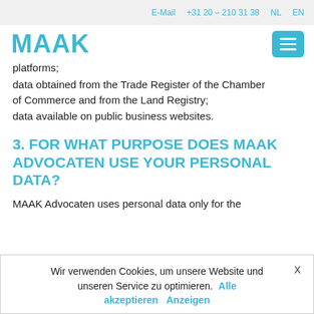E-Mail  +31 20 – 210 31 38  NL  EN
[Figure (logo): MAAK Advocaten logo in teal/cyan color with hamburger menu button on the right]
platforms;
data obtained from the Trade Register of the Chamber of Commerce and from the Land Registry;
data available on public business websites.
3. FOR WHAT PURPOSE DOES MAAK ADVOCATEN USE YOUR PERSONAL DATA?
MAAK Advocaten uses personal data only for the
Wir verwenden Cookies, um unsere Website und unseren Service zu optimieren.  Alle akzeptieren  Anzeigen